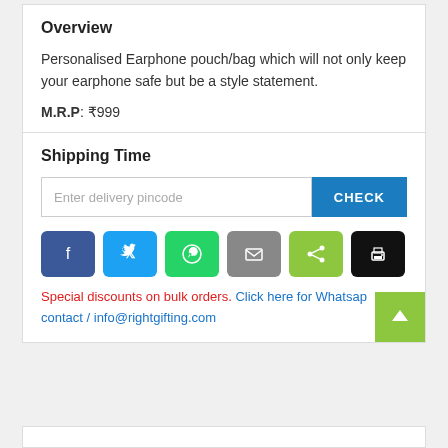Overview
Personalised Earphone pouch/bag which will not only keep your earphone safe but be a style statement.
M.R.P: ₹999
Shipping Time
Enter delivery pincode [input] CHECK [button]
[Figure (other): Social share buttons: Facebook, Twitter, WhatsApp, Email, Share, Print]
Special discounts on bulk orders. Click here for Whatsapp contact / info@rightgifting.com